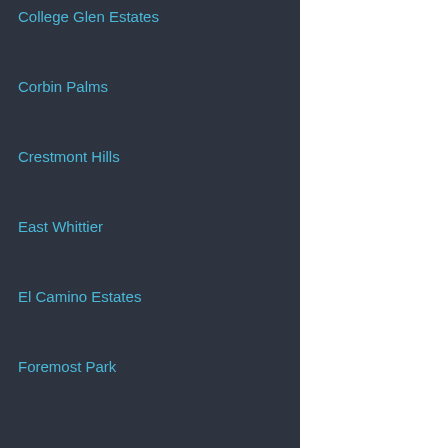College Glen Estates
Corbin Palms
Crestmont Hills
East Whittier
El Camino Estates
Foremost Park
Garden Grove East
Garden Grove North
Golden Vista Estates
Granada Hills
Indian Canyon
Kings Point
La Jolla Crest
La Jolla Scenic Heights
Linda Vista
The original doub living room. The been drywalled o mantle and surro